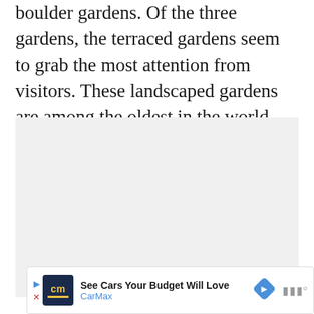boulder gardens. Of the three gardens, the terraced gardens seem to grab the most attention from visitors. These landscaped gardens are among the oldest in the world, and tourists are able to follow the paths through the gardens to the palace at the top of the rock.
[Figure (photo): A large light gray placeholder image region, likely where a photo of the gardens or palace would appear.]
[Figure (infographic): Advertisement banner: CarMax logo, text 'See Cars Your Budget Will Love', CarMax branding with blue navigation arrow icon.]